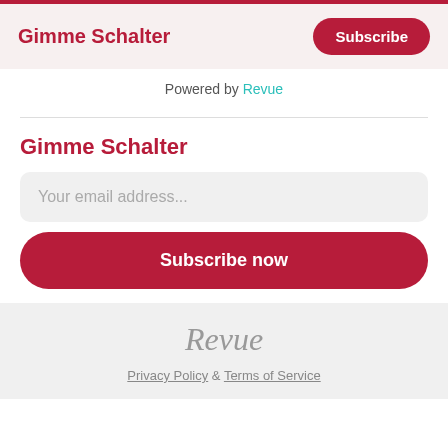Gimme Schalter
Subscribe
Powered by Revue
Gimme Schalter
Your email address...
Subscribe now
[Figure (logo): Revue logo in italic serif gray text]
Privacy Policy & Terms of Service